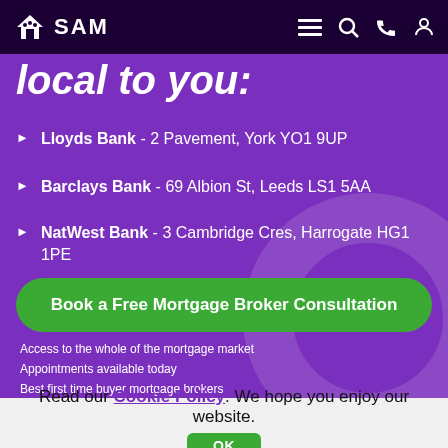SAM - mortgage broker navigation header
local to you:
Lloyds Bank - 2 Pavement, York YO1 9UP
Barclays Bank - 69 Albion St, Leeds LS1 5AA
NatWest Bank - 3 Cambridge Cres, Harrogate HG1 1PE
Book a Free Mortgage Broker Consultation
Access to the whole of the mortgage market
Appointments available today
Best first time buyer mortgage brokers
Read our Cookie Policy. We hope you enjoy our website.
OK